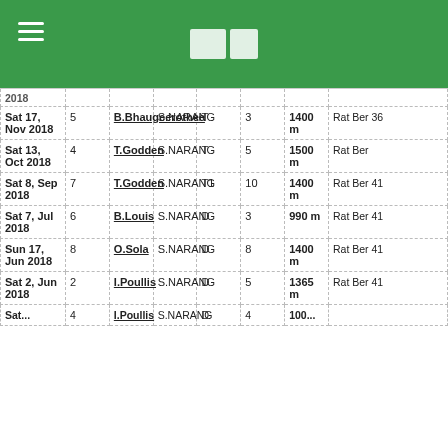Navigation header with logo
| Date | Race | Horse | Jockey | Type | Runners | Distance | Result |
| --- | --- | --- | --- | --- | --- | --- | --- |
| 2018 |  |  |  |  |  |  |  |
| Sat 17, Nov 2018 | 5 | B.Bhaugeerothee | S.NARANG | T | 3 | 1400 m | Rat Ber 36 |
| Sat 13, Oct 2018 | 4 | T.Godden | S.NARANG | T | 5 | 1500 m | Rat Ber |
| Sat 8, Sep 2018 | 7 | T.Godden | S.NARANG | T1 | 10 | 1400 m | Rat Ber 41 |
| Sat 7, Jul 2018 | 6 | B.Louis | S.NARANG | D | 3 | 990 m | Rat Ber 41 |
| Sun 17, Jun 2018 | 8 | O.Sola | S.NARANG | D | 8 | 1400 m | Rat Ber 41 |
| Sat 2, Jun 2018 | 2 | I.Poullis | S.NARANG | D | 5 | 1365 m | Rat Ber 41 |
| Sat ... | 4 | I.Poullis | S.NARANG | D | 4 | 100... |  |